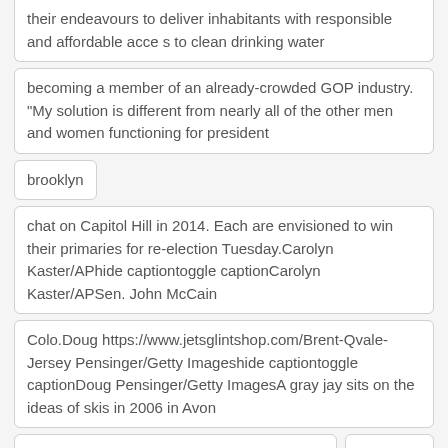their endeavours to deliver inhabitants with responsible and affordable acce s to clean drinking water
becoming a member of an already-crowded GOP industry. "My solution is different from nearly all of the other men and women functioning for president
brooklyn
chat on Capitol Hill in 2014. Each are envisioned to win their primaries for re-election Tuesday.Carolyn Kaster/APhide captiontoggle captionCarolyn Kaster/APSen. John McCain
Colo.Doug https://www.jetsglintshop.com/Brent-Qvale-Jersey Pensinger/Getty Imageshide captiontoggle captionDoug Pensinger/Getty ImagesA gray jay sits on the ideas of skis in 2006 in Avon
Colo.Doug Pensinger/Getty ImagesThe humble
Colombia
commenting shortly right after Trump made a smiling appearance together with Ru sian President Vladimir Putin within the G-20 Summit in Japan.Carter
Current at 5:57 p.m. ET Louisiana Gov. Bobby Jindal introduced Wednesday that he is trying to find the Republican presidential